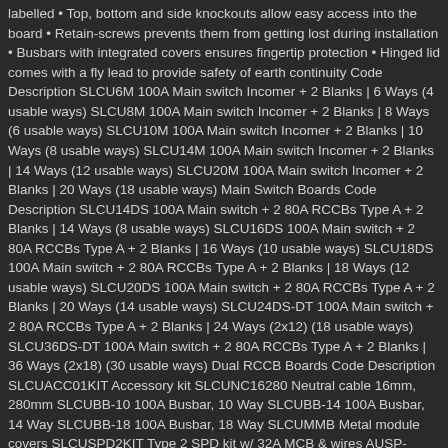labelled • Top, bottom and side knockouts allow easy access into the board • Retain-screws prevents them from getting lost during installation • Busbars with integrated covers ensures fingertip protection • Hinged lid comes with a fly lead to provide safety of earth continuity Code Description SLCU6M 100A Main switch Incomer + 2 Blanks | 6 Ways (4 usable ways) SLCU8M 100A Main switch Incomer + 2 Blanks | 8 Ways (6 usable ways) SLCU10M 100A Main switch Incomer + 2 Blanks | 10 Ways (8 usable ways) SLCU14M 100A Main switch Incomer + 2 Blanks | 14 Ways (12 usable ways) SLCU20M 100A Main switch Incomer + 2 Blanks | 20 Ways (18 usable ways) Main Switch Boards Code Description SLCU14DS 100A Main switch + 2 80A RCCBs Type A + 2 Blanks | 14 Ways (8 usable ways) SLCU16DS 100A Main switch + 2 80A RCCBs Type A + 2 Blanks | 16 Ways (10 usable ways) SLCU18DS 100A Main switch + 2 80A RCCBs Type A + 2 Blanks | 18 Ways (12 usable ways) SLCU20DS 100A Main switch + 2 80A RCCBs Type A + 2 Blanks | 20 Ways (14 usable ways) SLCU24DS-DT 100A Main switch + 2 80A RCCBs Type A + 2 Blanks | 24 Ways (2x12) (18 usable ways) SLCU36DS-DT 100A Main switch + 2 80A RCCBs Type A + 2 Blanks | 36 Ways (2x18) (30 usable ways) Dual RCCB Boards Code Description SLCUACC01KIT Accessory kit SLCUNC16280 Neutral cable 16mm, 280mm SLCUBB-10 100A Busbar, 10 Way SLCUBB-14 100A Busbar, 14 Way SLCUBB-18 100A Busbar, 18 Way SLCUMMB Metal module covers SLCUSPD2KIT Type 2 SPD kit w/ 32A MCB & wires AUSP-